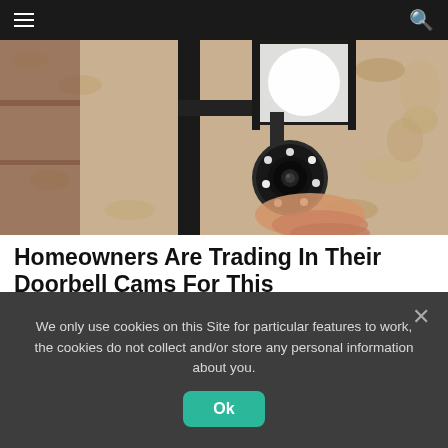Navigation bar with hamburger menu and search icon
[Figure (photo): A security camera shaped like a light bulb mounted in a black metal wall lantern fixture, screwed in by a hand, against a textured stucco wall.]
Homeowners Are Trading In Their Doorbell Cams For This
Camerca | Sponsored
Learn More
We only use cookies on this Site for particular features to work, the cookies do not collect and/or store any personal information about you.
Ok